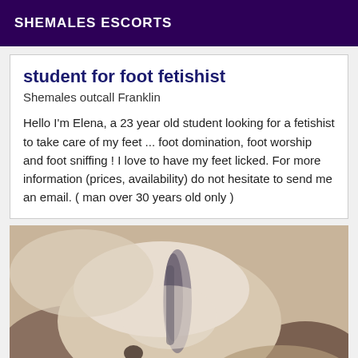SHEMALES ESCORTS
student for foot fetishist
Shemales outcall Franklin
Hello I'm Elena, a 23 year old student looking for a fetishist to take care of my feet ... foot domination, foot worship and foot sniffing ! I love to have my feet licked. For more information (prices, availability) do not hesitate to send me an email. ( man over 30 years old only )
[Figure (photo): Close-up photograph showing feet/body parts, tan and pale skin tones with dark hair visible]